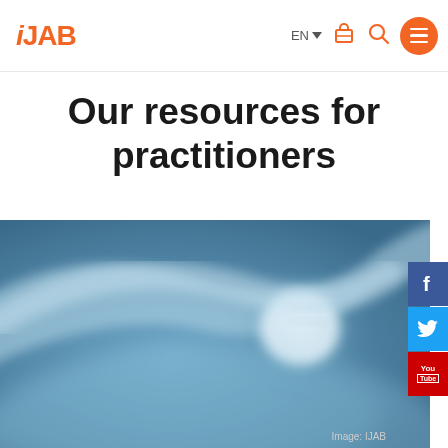IJAB — EN — navigation icons
Our resources for practitioners
[Figure (photo): Blurred blue background image showing a stylized globe or arc shape in blue and white tones, with faint white text overlay and 'Image: IJAB' caption in bottom right corner.]
Image: IJAB